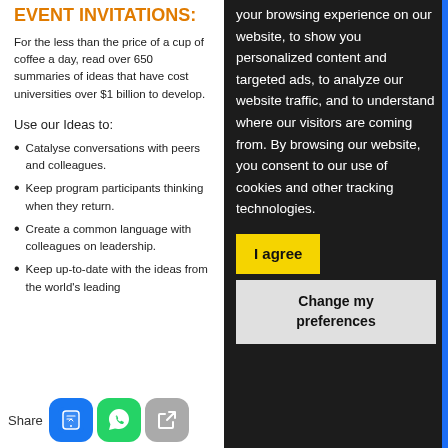EVENT INVITATIONS:
For the less than the price of a cup of coffee a day, read over 650 summaries of ideas that have cost universities over $1 billion to develop.
Use our Ideas to:
Catalyse conversations with peers and colleagues.
Keep program participants thinking when they return.
Create a common language with colleagues on leadership.
Keep up-to-date with the ideas from the world's leading
your browsing experience on our website, to show you personalized content and targeted ads, to analyze our website traffic, and to understand where our visitors are coming from. By browsing our website, you consent to our use of cookies and other tracking technologies.
I agree
Change my preferences
Share